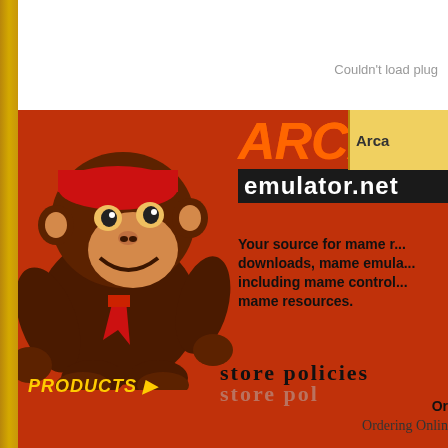Couldn't load plug
[Figure (illustration): Donkey Kong / gorilla character mascot on red background for Arcade Emulator website]
ARCADE emulator.net
Arca
Your source for mame r... downloads, mame emula... including mame control... mame resources.
store policies
store pol
PRODUCTS ▶
Or
Ordering Onlin